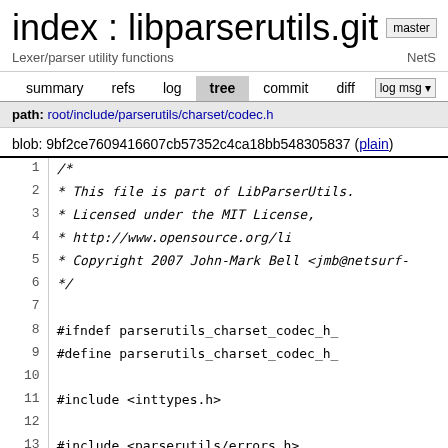index : libparserutils.git
Lexer/parser utility functions   NetS
summary   refs   log   tree   commit   diff   log msg
path: root/include/parserutils/charset/codec.h
blob: 9bf2ce7609416607cb57352c4ca18bb548305837 (plain)
1  /*
2   * This file is part of LibParserUtils.
3   * Licensed under the MIT License,
4   *             http://www.opensource.org/li
5   * Copyright 2007 John-Mark Bell <jmb@netsurf-
6   */
7
8  #ifndef parserutils_charset_codec_h_
9  #define parserutils_charset_codec_h_
10
11 #include <inttypes.h>
12
13 #include <parserutils/errors.h>
14 #include <parserutils/functypes.h>
15
16 typedef struct parserutils_charset_codec parse
17